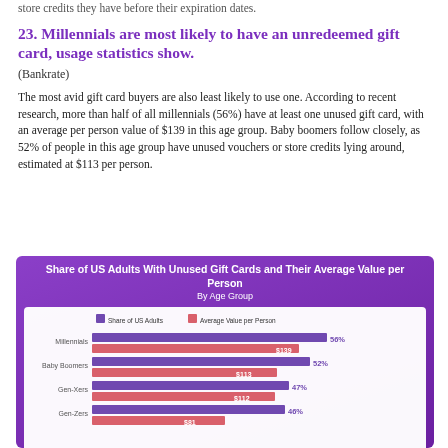store credits they have before their expiration dates.
23. Millennials are most likely to have an unredeemed gift card, usage statistics show.
(Bankrate)
The most avid gift card buyers are also least likely to use one. According to recent research, more than half of all millennials (56%) have at least one unused gift card, with an average per person value of $139 in this age group. Baby boomers follow closely, as 52% of people in this age group have unused vouchers or store credits lying around, estimated at $113 per person.
[Figure (grouped-bar-chart): Share of US Adults With Unused Gift Cards and Their Average Value per Person By Age Group]